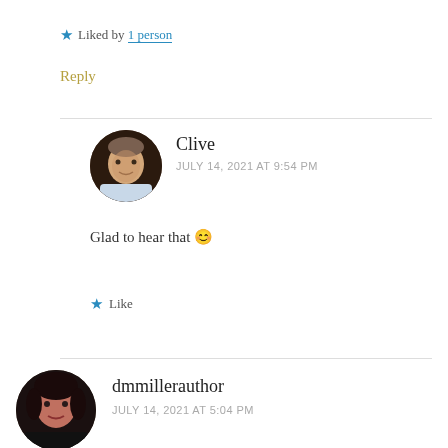★ Liked by 1 person
Reply
Clive
JULY 14, 2021 AT 9:54 PM
Glad to hear that 😊
★ Like
dmmillerauthor
JULY 14, 2021 AT 5:04 PM